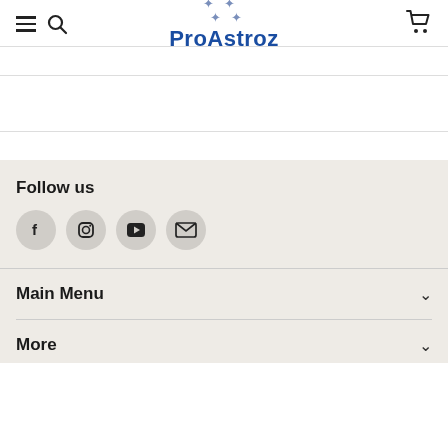ProAstroz
Follow us
[Figure (other): Social media icon buttons: Facebook, Instagram, YouTube, Email]
Main Menu
More